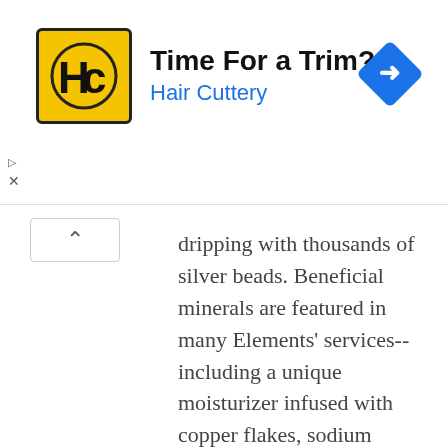[Figure (infographic): Hair Cuttery advertisement banner with logo, tagline 'Time For a Trim?', brand name 'Hair Cuttery', and a blue navigation arrow icon]
dripping with thousands of silver beads. Beneficial minerals are featured in many Elements' services-- including a unique moisturizer infused with copper flakes, sodium scrubs, mineral water soaks, minerals muds and mineral-based cosmetics.